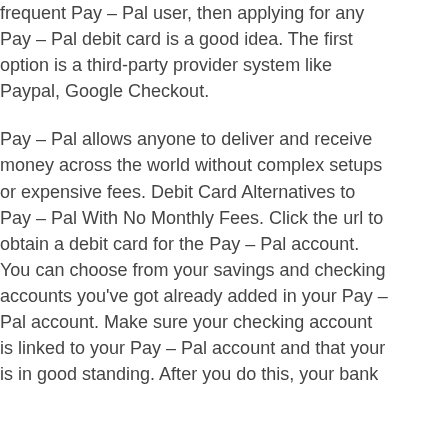frequent Pay – Pal user, then applying for any Pay – Pal debit card is a good idea. The first option is a third-party provider system like Paypal, Google Checkout.
Pay – Pal allows anyone to deliver and receive money across the world without complex setups or expensive fees. Debit Card Alternatives to Pay – Pal With No Monthly Fees. Click the url to obtain a debit card for the Pay – Pal account. You can choose from your savings and checking accounts you've got already added in your Pay – Pal account. Make sure your checking account is linked to your Pay – Pal account and that your is in good standing. After you do this, your bank